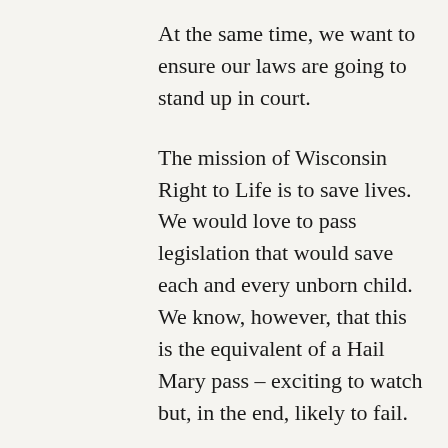At the same time, we want to ensure our laws are going to stand up in court.
The mission of Wisconsin Right to Life is to save lives. We would love to pass legislation that would save each and every unborn child. We know, however, that this is the equivalent of a Hail Mary pass – exciting to watch but, in the end, likely to fail. As Wisconsin's declining abortion numbers show, our legislative strategy has been very effective.
Our ability to save lives through promoting bills that will become law took a huge hit when abortion advocate and Planned Parenthood darling, Tony Evers, became our governor earlier this year. That does not mean that we've